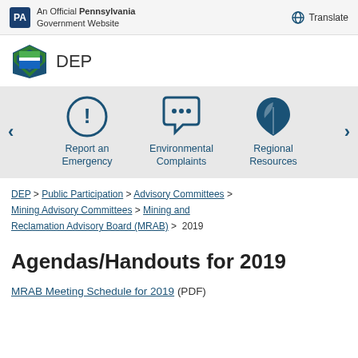An Official Pennsylvania Government Website | Translate
[Figure (logo): DEP Pennsylvania Department of Environmental Protection logo with green and blue keystone icon]
[Figure (infographic): Navigation carousel with three icons: Report an Emergency (exclamation mark in circle), Environmental Complaints (speech bubble with dots), Regional Resources (leaf)]
DEP > Public Participation > Advisory Committees > Mining Advisory Committees > Mining and Reclamation Advisory Board (MRAB) > 2019
Agendas/Handouts for 2019
MRAB Meeting Schedule for 2019 (PDF)